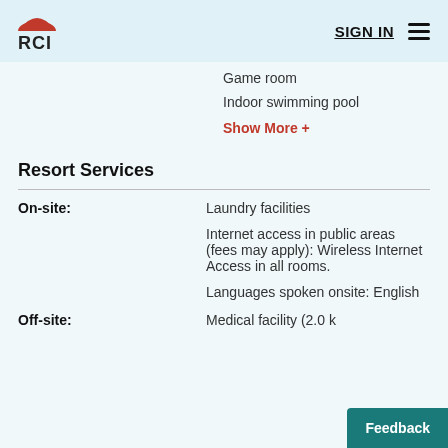RCI — SIGN IN
Game room
Indoor swimming pool
Show More +
Resort Services
On-site:
Laundry facilities
Internet access in public areas (fees may apply): Wireless Internet Access in all rooms.
Languages spoken onsite: English
Off-site:
Medical facility (2.0 k
Feedback